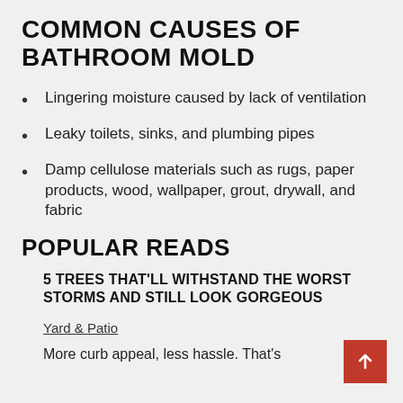COMMON CAUSES OF BATHROOM MOLD
Lingering moisture caused by lack of ventilation
Leaky toilets, sinks, and plumbing pipes
Damp cellulose materials such as rugs, paper products, wood, wallpaper, grout, drywall, and fabric
POPULAR READS
5 TREES THAT'LL WITHSTAND THE WORST STORMS AND STILL LOOK GORGEOUS
Yard & Patio
More curb appeal, less hassle. That's